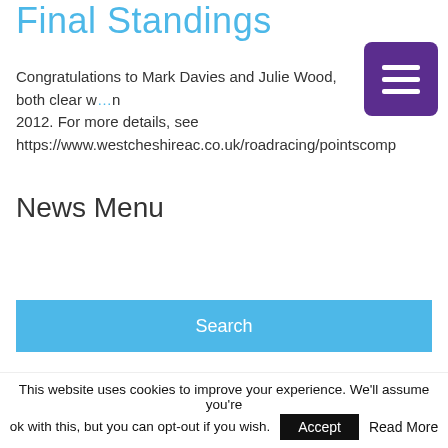Final Standings
Congratulations to Mark Davies and Julie Wood, both clear w...n 2012. For more details, see https://www.westcheshireac.co.uk/roadracing/pointscomp
News Menu
Recent Posts
Press Report: Neil and Keely impress for county
This website uses cookies to improve your experience. We'll assume you're ok with this, but you can opt-out if you wish. Accept Read More